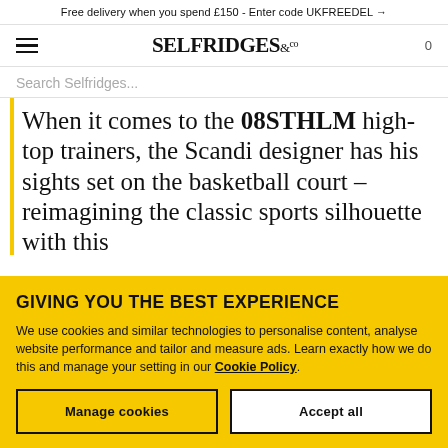Free delivery when you spend £150 - Enter code UKFREEDEL →
[Figure (logo): Selfridges & Co logo with hamburger menu icon and cart count 0]
Search Selfridges...
When it comes to the 08STHLM high-top trainers, the Scandi designer has his sights set on the basketball court – reimagining the classic sports silhouette with this
GIVING YOU THE BEST EXPERIENCE
We use cookies and similar technologies to personalise content, analyse website performance and tailor and measure ads. Learn exactly how we do this and manage your setting in our Cookie Policy.
Manage cookies
Accept all